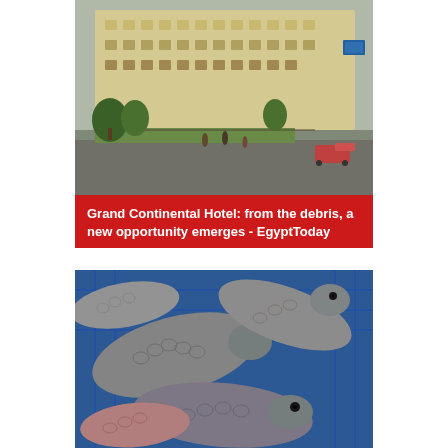[Figure (photo): Street scene showing the Grand Continental Hotel area in Egypt — a city square with a large multi-story building with arched windows (beige/yellow facade), trees, a fence, pedestrians, and parked cars in the foreground.]
Grand Continental Hotel: from the debris, a new opportunity emerges - EgyptToday
[Figure (photo): Close-up photograph of multiple tilapia fish piled together in a blue plastic crate/basket. The fish are grey-silver with scales visible, showing their heads and bodies from various angles.]